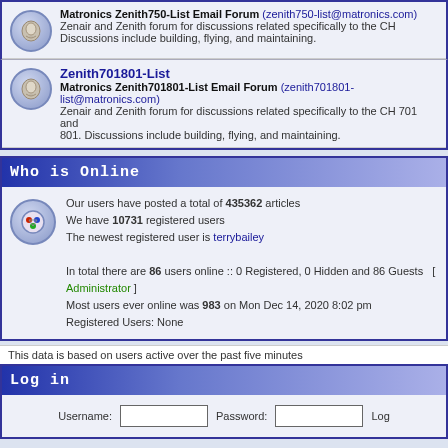Matronics Zenith750-List Email Forum (zenith750-list@matronics.com) Zenair and Zenith forum for discussions related specifically to the CH. Discussions include building, flying, and maintaining.
Zenith701801-List
Matronics Zenith701801-List Email Forum (zenith701801-list@matronics.com) Zenair and Zenith forum for discussions related specifically to the CH 701 and 801. Discussions include building, flying, and maintaining.
Who is Online
Our users have posted a total of 435362 articles
We have 10731 registered users
The newest registered user is terrybailey

In total there are 86 users online :: 0 Registered, 0 Hidden and 86 Guests  [ Administrator ]
Most users ever online was 983 on Mon Dec 14, 2020 8:02 pm
Registered Users: None
This data is based on users active over the past five minutes
Log in
Username: [input] Password: [input] Log
New posts   No new posts
Powered by phpBB © 2001, 2005 php